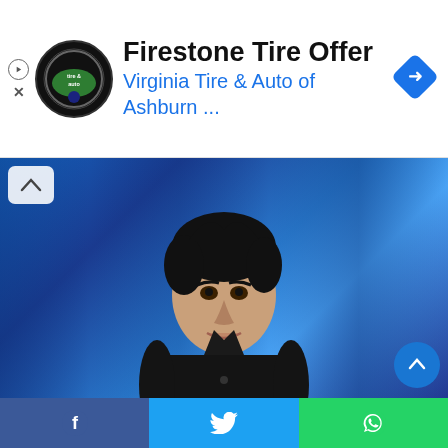[Figure (infographic): Advertisement banner for Firestone Tire Offer from Virginia Tire & Auto of Ashburn with logo and navigation icon]
Firestone Tire Offer
Virginia Tire & Auto of Ashburn ...
[Figure (photo): Young man in dark shirt seated against blue background, holding a water bottle. Image Source: outlookindia]
Image Source: outlookindia
Aryan Khan has been called by the Mumbai Police's Special Investigation Team (SIT) for questioning in connection with the Mumbai drugs bust case. According to the reports, the SIT h